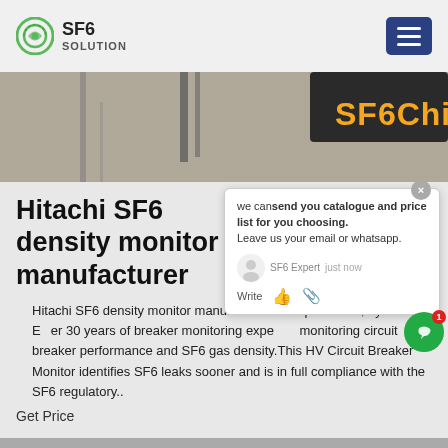SF6 SOLUTION
[Figure (photo): Hero banner photo showing SF6 equipment with 'SF6China' text overlay in orange on dark background]
Hitachi SF6 density monitor manufacturer
Hitachi SF6 density monitor manufacturer, Incon Optimizer 3, by Franklin Electric, over 30 years of breaker monitoring experience monitoring circuit breaker performance and SF6 gas density.This HV Circuit Breaker Monitor identifies SF6 leaks sooner and is in full compliance with the SF6 regulatory..
Get Price